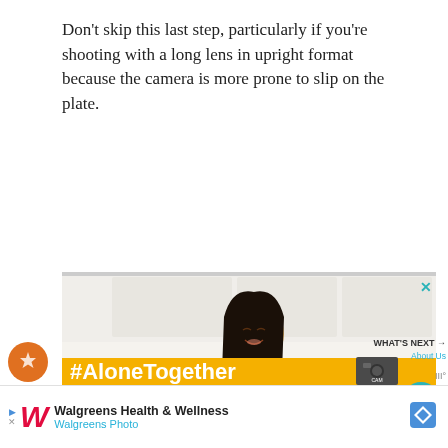Don't skip this last step, particularly if you're shooting with a long lens in upright format because the camera is more prone to slip on the plate.
[Figure (photo): A smiling young woman with long dark hair wearing a yellow/mustard top, sitting at a kitchen table eating food with fork and knife. A laptop is open to her left, and a glass of orange juice is on the right. Modern white kitchen in background. Overlaid with a yellow banner showing '#AloneTogether' hashtag.]
[Figure (photo): Walgreens Health & Wellness advertisement banner at the bottom of the page, showing Walgreens logo (stylized W in red italic), text 'Walgreens Health & Wellness' and 'Walgreens Photo', with a blue diamond/navigation icon.]